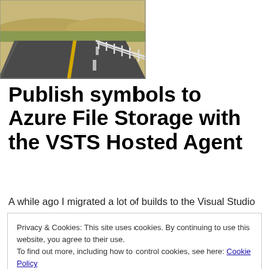[Figure (photo): Aerial or eye-level view of a road with yellow center line and white guardrail, dry hilly landscape in background]
Publish symbols to Azure File Storage with the VSTS Hosted Agent
A while ago I migrated a lot of builds to the Visual Studio
Privacy & Cookies: This site uses cookies. By continuing to use this website, you agree to their use.
To find out more, including how to control cookies, see here: Cookie Policy
Close and accept
In my case this was, setting up a Symbol Server. We